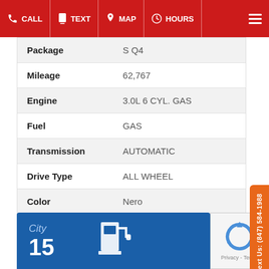CALL | TEXT | MAP | HOURS
| Attribute | Value |
| --- | --- |
| Package | S Q4 |
| Mileage | 62,767 |
| Engine | 3.0L 6 CYL. GAS |
| Fuel | GAS |
| Transmission | AUTOMATIC |
| Drive Type | ALL WHEEL |
| Color | Nero |
| Interior | Red |
| VIN | ZAM56RRA8F1155110 |
| Stock Number | 18200 |
Text Us: (847) 584-1988
[Figure (infographic): Blue fuel economy section showing City MPG: 15, with a gas pump icon]
[Figure (other): reCAPTCHA logo with Privacy - Terms text]